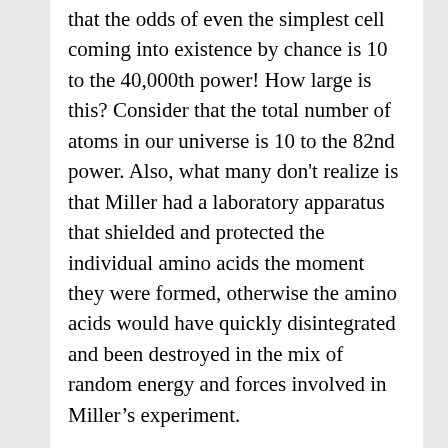that the odds of even the simplest cell coming into existence by chance is 10 to the 40,000th power! How large is this? Consider that the total number of atoms in our universe is 10 to the 82nd power. Also, what many don't realize is that Miller had a laboratory apparatus that shielded and protected the individual amino acids the moment they were formed, otherwise the amino acids would have quickly disintegrated and been destroyed in the mix of random energy and forces involved in Miller's experiment.
Miller's experiment produced equally both left-handed and right-handed amino acids, but all living things strictly require